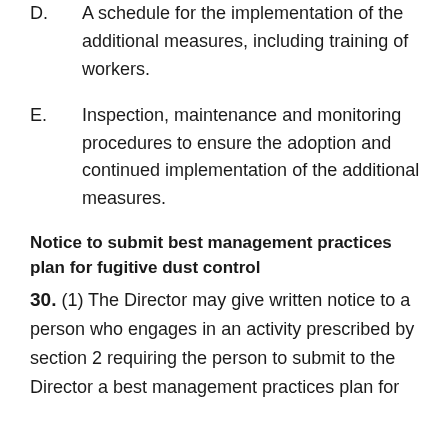D. A schedule for the implementation of the additional measures, including training of workers.
E. Inspection, maintenance and monitoring procedures to ensure the adoption and continued implementation of the additional measures.
Notice to submit best management practices plan for fugitive dust control
30. (1) The Director may give written notice to a person who engages in an activity prescribed by section 2 requiring the person to submit to the Director a best management practices plan for